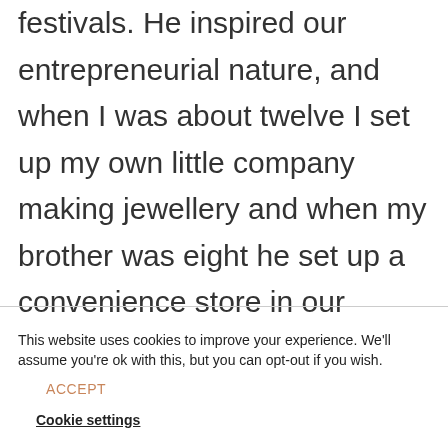festivals. He inspired our entrepreneurial nature, and when I was about twelve I set up my own little company making jewellery and when my brother was eight he set up a convenience store in our bedroom, kids off the estate would come round and buy stuff off us.
This website uses cookies to improve your experience. We'll assume you're ok with this, but you can opt-out if you wish.
ACCEPT
Cookie settings